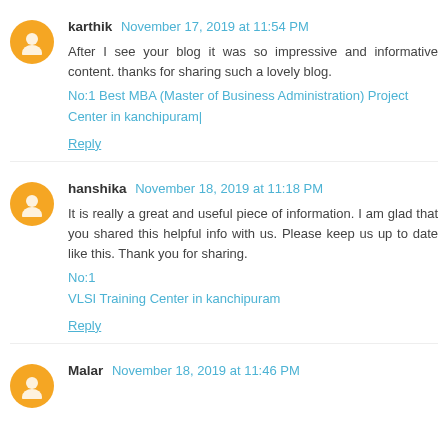karthik November 17, 2019 at 11:54 PM
After I see your blog it was so impressive and informative content. thanks for sharing such a lovely blog.
No:1 Best MBA (Master of Business Administration) Project Center in kanchipuram|
Reply
hanshika November 18, 2019 at 11:18 PM
It is really a great and useful piece of information. I am glad that you shared this helpful info with us. Please keep us up to date like this. Thank you for sharing.
No:1
VLSI Training Center in kanchipuram
Reply
Malar November 18, 2019 at 11:46 PM